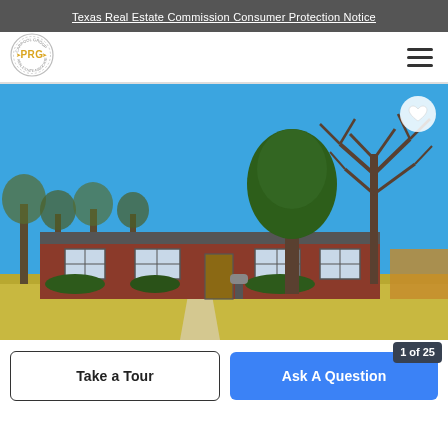Texas Real Estate Commission Consumer Protection Notice
[Figure (logo): PRG real estate group circular logo with gold PRG letters]
[Figure (photo): Exterior photo of a single-story brick ranch-style house with large trees in the yard against a bright blue sky]
Take a Tour
Ask A Question
1 of 25